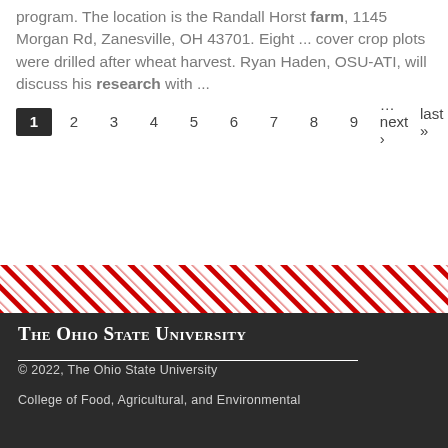program. The location is the Randall Horst farm, 1145 Morgan Rd, Zanesville, OH 43701. Eight ... cover crop plots were drilled after wheat harvest. Ryan Haden, OSU-ATI, will discuss his research with ...
Pagination: 1 (active), 2, 3, 4, 5, 6, 7, 8, 9, …next ›, last »
[Figure (illustration): Diagonal red and white stripe decorative band]
The Ohio State University
© 2022, The Ohio State University
College of Food, Agricultural, and Environmental